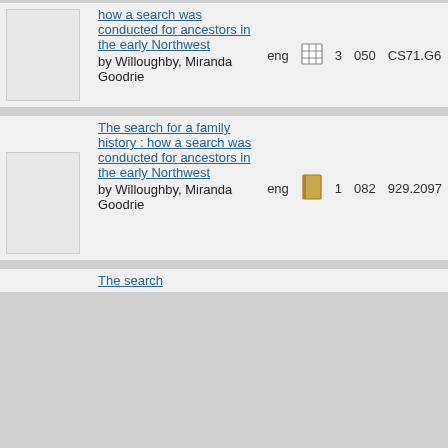| thumbnail | title/author | lang | format | copies | code | call_number |
| --- | --- | --- | --- | --- | --- | --- |
| [image] | how a search was conducted for ancestors in the early Northwest
by Willoughby, Miranda Goodrie | eng | [table icon] | 3 | 050 | CS71.G6 |
| [image] | The search for a family history : how a search was conducted for ancestors in the early Northwest
by Willoughby, Miranda Goodrie | eng | [book icon] | 1 | 082 | 929.2097 |
| [image] | The search | eng |  |  |  |  |